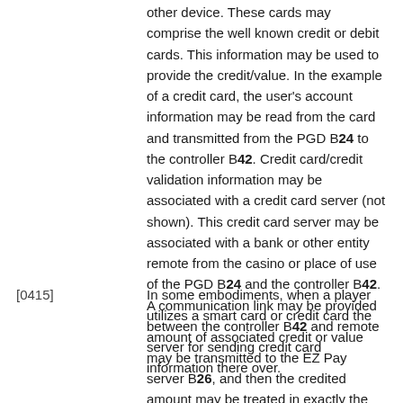other device. These cards may comprise the well known credit or debit cards. This information may be used to provide the credit/value. In the example of a credit card, the user's account information may be read from the card and transmitted from the PGD B24 to the controller B42. Credit card/credit validation information may be associated with a credit card server (not shown). This credit card server may be associated with a bank or other entity remote from the casino or place of use of the PGD B24 and the controller B42. A communication link may be provided between the controller B42 and remote server for sending credit card information there over.
[0415] In some embodiments, when a player utilizes a smart card or credit card the amount of associated credit or value may be transmitted to the EZ Pay server B26, and then the credited amount may be treated in exactly the same manner as if the credit/value had been provided by a ticket. When a player wishes to cash out, the